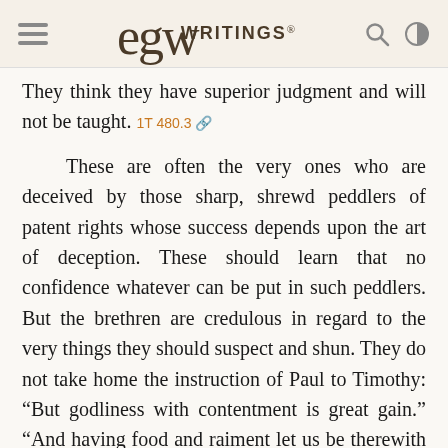EGW WRITINGS®
They think they have superior judgment and will not be taught. 1T 480.3
These are often the very ones who are deceived by those sharp, shrewd peddlers of patent rights whose success depends upon the art of deception. These should learn that no confidence whatever can be put in such peddlers. But the brethren are credulous in regard to the very things they should suspect and shun. They do not take home the instruction of Paul to Timothy: “But godliness with contentment is great gain.” “And having food and raiment let us be therewith content.” Let not the poor think that the rich are the only covetous ones. While the rich hold what they have with a covetous grasp,